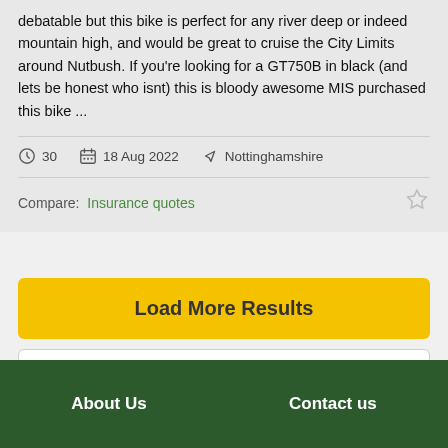debatable but this bike is perfect for any river deep or indeed mountain high, and would be great to cruise the City Limits around Nutbush. If you're looking for a GT750B in black (and lets be honest who isnt) this is bloody awesome MIS purchased this bike ...
30   18 Aug 2022   Nottinghamshire
Compare:  Insurance quotes
Load More Results
Refine Search
New Search
About Us   Contact us